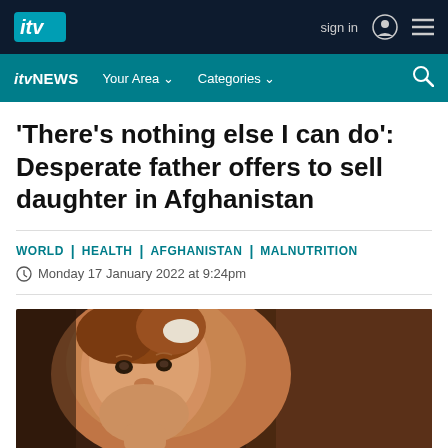ITV sign in [navigation bar]
ITV NEWS  Your Area  Categories [secondary navigation bar]
'There's nothing else I can do': Desperate father offers to sell daughter in Afghanistan
WORLD | HEALTH | AFGHANISTAN | MALNUTRITION
Monday 17 January 2022 at 9:24pm
[Figure (photo): A young child with reddish-brown hair looking at the camera, photographed in dim warm-toned lighting against a dark brown fabric background.]